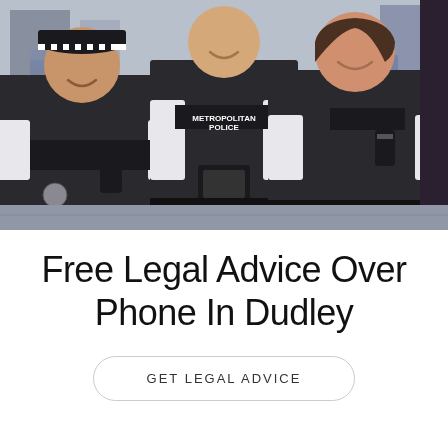[Figure (photo): Three Metropolitan Police officers in black tactical vests and white shirts smiling on a street. The left officer is a woman wearing a checkered police cap and holding a radio. The center officer is male holding a device. The right officer is a woman. All wear police insignia and equipment.]
Free Legal Advice Over Phone In Dudley
GET LEGAL ADVICE